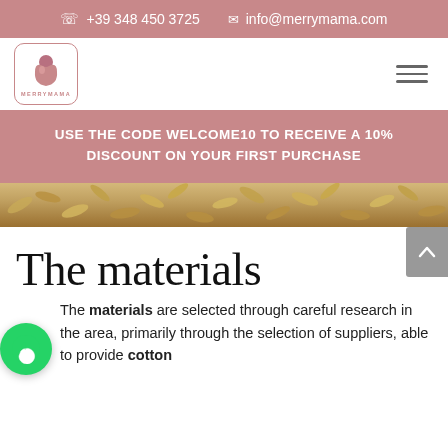+39 348 450 3725   info@merrymama.com
[Figure (logo): MerryMama logo — stylized heart/baby figure in pink/mauve inside a rounded rectangle border, with 'MERRYMAMA' text below]
USE THE CODE WELCOME10 TO RECEIVE A 10% DISCOUNT ON YOUR FIRST PURCHASE
[Figure (photo): Close-up photo of grain/seeds (oats or barley) spread across a wooden surface]
The materials
The materials are selected through careful research in the area, primarily through the selection of suppliers, able to provide cotton